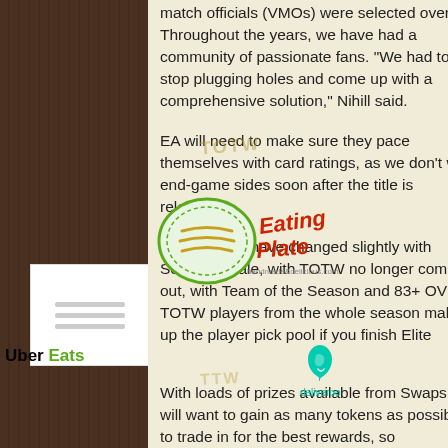match officials (VMOs) were selected overall. Throughout the years, we have had a community of passionate fans. "We had to stop plugging holes and come up with a comprehensive solution," Nihill said.
EA will need to make sure they pace themselves with card ratings, as we don't want end-game sides soon after the title is released.
The rewards have changed slightly with Season Finale, with TOTW no longer coming out, with Team of the Season and 83+ OVR TOTW players from the whole season making up the player pick pool if you finish Elite.
With loads of prizes available from Swaps, you will want to gain as many tokens as possible to trade in for the best rewards, so